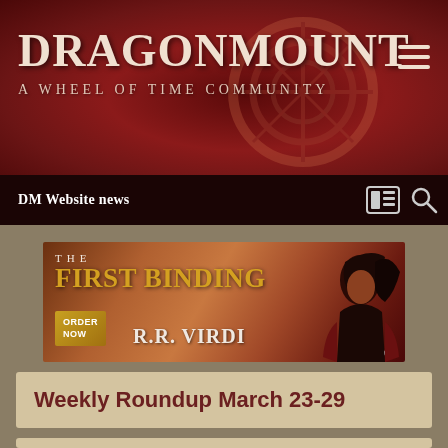DRAGONMOUNT — A WHEEL OF TIME COMMUNITY
DM Website news
[Figure (illustration): Advertisement banner for 'The First Binding' by R.R. Virdi, published by Tor. Shows a figure with dark flowing hair against a reddish-orange background. Text reads: THE FIRST BINDING, ORDER NOW, R.R. VIRDI]
Weekly Roundup March 23-29